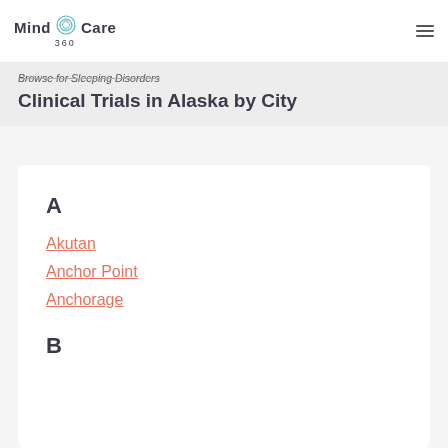Mind Care 360
Browse for Sleeping Disorders Clinical Trials in Alaska by City
A
Akutan
Anchor Point
Anchorage
B